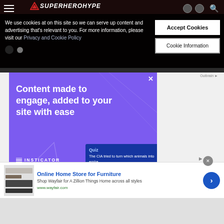SuperHeroHype
We use cookies at on this site so we can serve up content and advertising that's relevant to you. For more information, please visit our Privacy and Cookie Policy
Accept Cookies
Cookie Information
[Figure (infographic): Insticator advertisement banner with purple background. Text reads: 'Content made to engage, added to your site with ease'. Insticator logo at bottom left. Quiz card at bottom right showing 'The CIA tried to turn which animals into emba...']
[Figure (infographic): Wayfair advertisement: 'Online Home Store for Furniture. Shop Wayfair for A Zillion Things Home across all styles. www.wayfair.com'. Blue arrow button on right. Appliance image on left.]